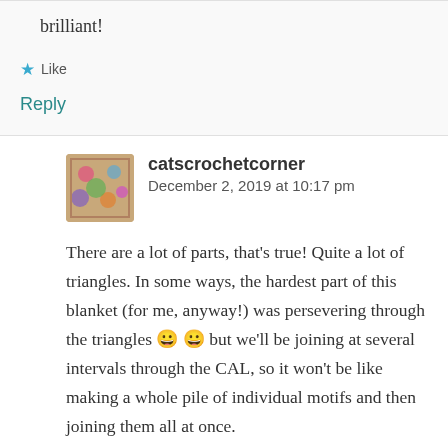brilliant!
★ Like
Reply
catscrochetcorner  December 2, 2019 at 10:17 pm
There are a lot of parts, that's true! Quite a lot of triangles. In some ways, the hardest part of this blanket (for me, anyway!) was persevering through the triangles 😀 😀 but we'll be joining at several intervals through the CAL, so it won't be like making a whole pile of individual motifs and then joining them all at once.